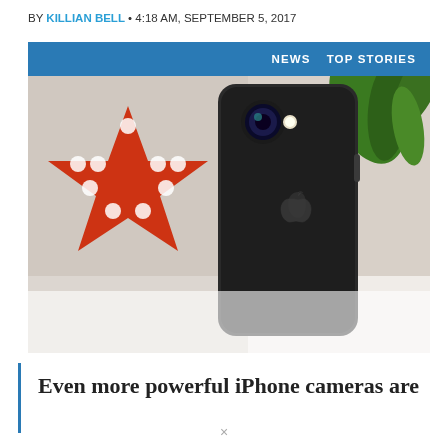BY KILLIAN BELL • 4:18 AM, SEPTEMBER 5, 2017
[Figure (photo): Back of a black iPhone 7 with Apple logo and camera visible, placed in front of a red star/arrow shaped light fixture with polka dot bulbs and a green plant in the background. Blue banner at top reads NEWS and TOP STORIES.]
Even more powerful iPhone cameras are